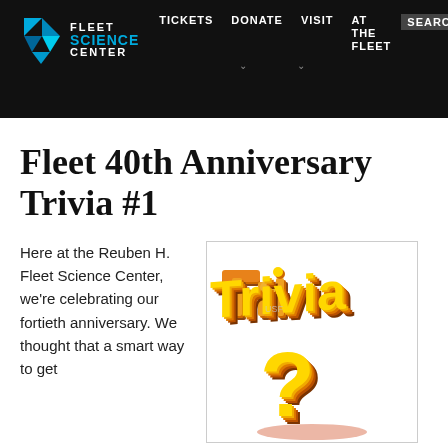Fleet Science Center — TICKETS  DONATE  VISIT  AT THE FLEET  SEARCH
Fleet 40th Anniversary Trivia #1
Here at the Reuben H. Fleet Science Center, we're celebrating our fortieth anniversary. We thought that a smart way to get
[Figure (illustration): 3D stylized gold/orange text reading 'Trivia' with a large yellow question mark below, rendered in a comic/action style against a white background with a light border.]